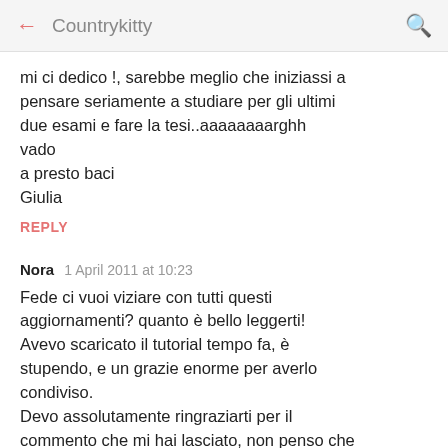← Countrykitty 🔍
mi ci dedico !, sarebbe meglio che iniziassi a pensare seriamente a studiare per gli ultimi due esami e fare la tesi..aaaaaaaarghh vado
a presto baci
Giulia
REPLY
Nora  1 April 2011 at 10:23
Fede ci vuoi viziare con tutti questi aggiornamenti? quanto è bello leggerti! Avevo scaricato il tutorial tempo fa, è stupendo, e un grazie enorme per averlo condiviso.
Devo assolutamente ringraziarti per il commento che mi hai lasciato, non penso che puoi immaginare quanto mi hai resa felice con le tue parole speciali,e questo nonostante i tuoi impegni.
GRAZIE di cuore, veramente.